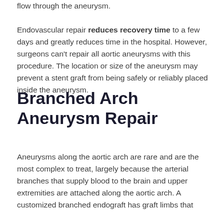flow through the aneurysm. Endovascular repair reduces recovery time to a few days and greatly reduces time in the hospital. However, surgeons can't repair all aortic aneurysms with this procedure. The location or size of the aneurysm may prevent a stent graft from being safely or reliably placed inside the aneurysm.
Branched Arch Aneurysm Repair
Aneurysms along the aortic arch are rare and are the most complex to treat, largely because the arterial branches that supply blood to the brain and upper extremities are attached along the aortic arch. A customized branched endograft has graft limbs that